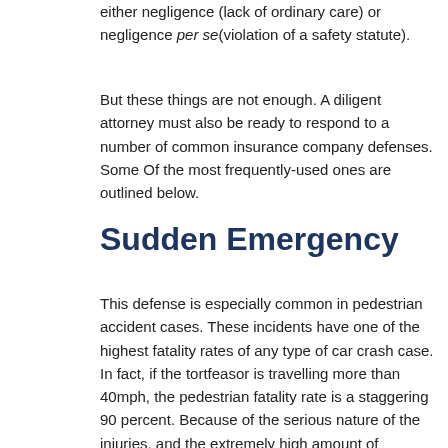either negligence (lack of ordinary care) or negligence per se(violation of a safety statute).
But these things are not enough. A diligent attorney must also be ready to respond to a number of common insurance company defenses. Some Of the most frequently-used ones are outlined below.
Sudden Emergency
This defense is especially common in pedestrian accident cases. These incidents have one of the highest fatality rates of any type of car crash case. In fact, if the tortfeasor is travelling more than 40mph, the pedestrian fatality rate is a staggering 90 percent. Because of the serious nature of the injuries, and the extremely high amount of damages, insurance company lawyers are usually desperate to avoid liability.